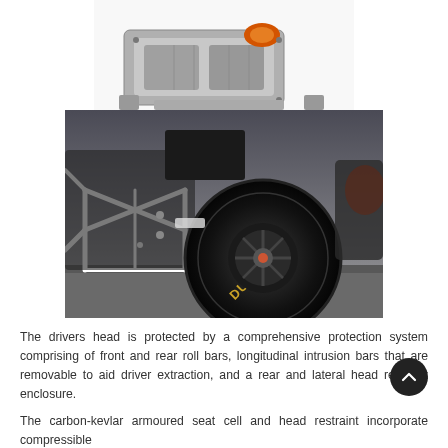[Figure (photo): Close-up photo of a racing car gearbox/engine component, silver and grey metallic casing with an orange element visible, mounted unit shown from a slight angle]
[Figure (photo): Photo of a racing car's front suspension and large Dunlop racing slick tyre, with white tubular space-frame chassis visible, dark cloudy sky background]
The drivers head is protected by a comprehensive protection system comprising of front and rear roll bars, longitudinal intrusion bars that are removable to aid driver extraction, and a rear and lateral head restraint enclosure.
The carbon-kevlar armoured seat cell and head restraint incorporate compressible